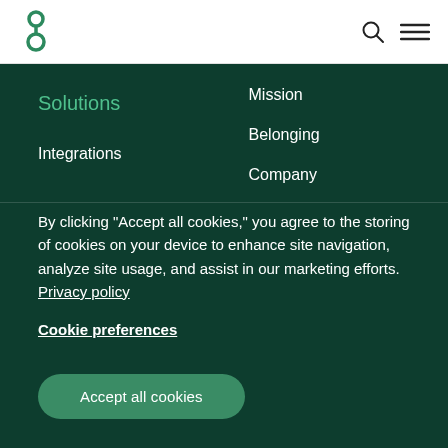[Figure (logo): Green stylized figure-8 / person logo icon]
Solutions
Integrations
Mission
Belonging
Company
By clicking “Accept all cookies,” you agree to the storing of cookies on your device to enhance site navigation, analyze site usage, and assist in our marketing efforts. Privacy policy
Cookie preferences
Accept all cookies